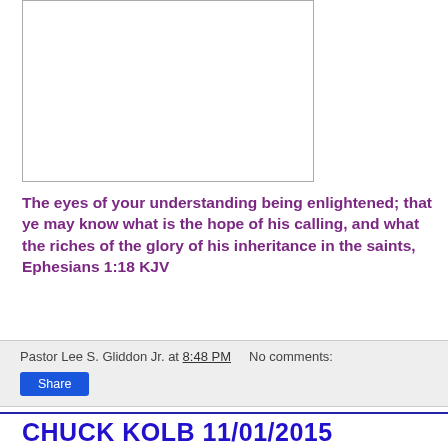[Figure (other): Image placeholder box (white rectangle with border)]
The eyes of your understanding being enlightened; that ye may know what is the hope of his calling, and what the riches of the glory of his inheritance in the saints, Ephesians 1:18 KJV
Pastor Lee S. Gliddon Jr. at 8:48 PM    No comments:
Share
CHUCK KOLB 11/01/2015
Requiem for the republic or revolution !!!
Previously posted ...
Turning Back the Clock - Reformation Day !!!